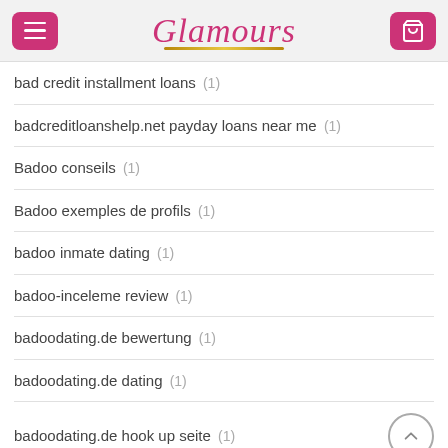Glamours
bad credit installment loans (1)
badcreditloanshelp.net payday loans near me (1)
Badoo conseils (1)
Badoo exemples de profils (1)
badoo inmate dating (1)
badoo-inceleme review (1)
badoodating.de bewertung (1)
badoodating.de dating (1)
badoodating.de hook up seite (1)
bakersfield escort review (1)